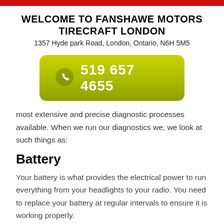WELCOME TO FANSHAWE MOTORS TIRECRAFT LONDON
1357 Hyde park Road, London, Ontario, N6H 5M5
[Figure (infographic): Green rounded rectangle button with white phone icon and phone number 519 657 4655 in white bold text]
most extensive and precise diagnostic processes available. When we run our diagnostics we, we look at such things as:
Battery
Your battery is what provides the electrical power to run everything from your headlights to your radio. You need to replace your battery at regular intervals to ensure it is working properly.